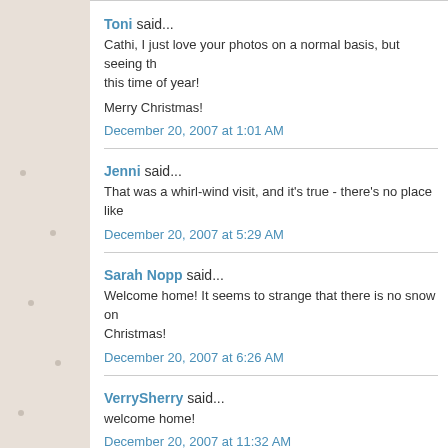Toni said...
Cathi, I just love your photos on a normal basis, but seeing th... this time of year!
Merry Christmas!
December 20, 2007 at 1:01 AM
Jenni said...
That was a whirl-wind visit, and it's true - there's no place like...
December 20, 2007 at 5:29 AM
Sarah Nopp said...
Welcome home! It seems to strange that there is no snow on... Christmas!
December 20, 2007 at 6:26 AM
VerrySherry said...
welcome home!
December 20, 2007 at 11:32 AM